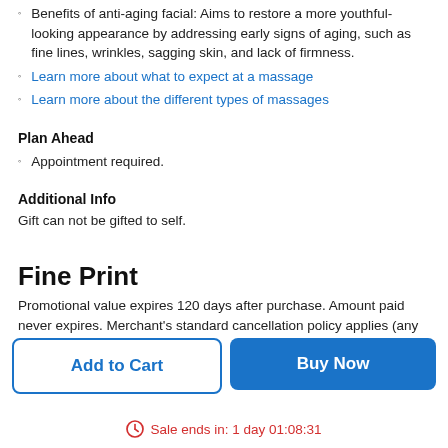Benefits of anti-aging facial: Aims to restore a more youthful-looking appearance by addressing early signs of aging, such as fine lines, wrinkles, sagging skin, and lack of firmness.
Learn more about what to expect at a massage
Learn more about the different types of massages
Plan Ahead
Appointment required.
Additional Info
Gift can not be gifted to self.
Fine Print
Promotional value expires 120 days after purchase. Amount paid never expires. Merchant's standard cancellation policy applies (any
Add to Cart
Buy Now
Sale ends in: 1 day 01:08:31